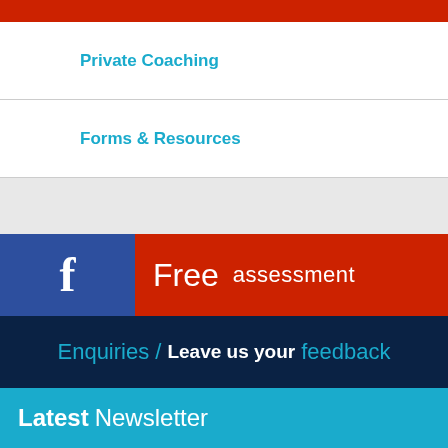Private Coaching
Forms & Resources
Free assessment
Enquiries / Leave us your feedback
Latest Newsletter